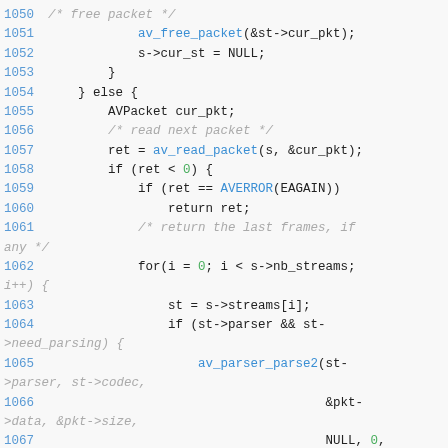Source code listing lines 1050-1068, C code for packet reading logic